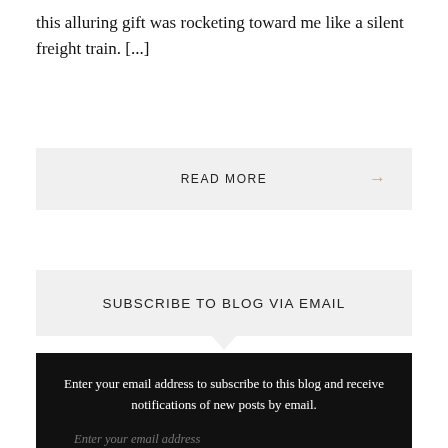this alluring gift was rocketing toward me like a silent freight train. [...]
READ MORE →
SUBSCRIBE TO BLOG VIA EMAIL
Enter your email address to subscribe to this blog and receive notifications of new posts by email.
Enter your email address
SUBSCRIBE